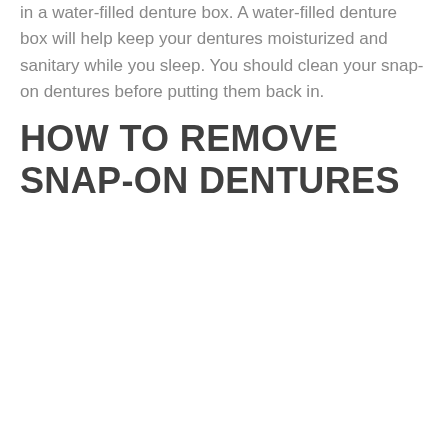in a water-filled denture box. A water-filled denture box will help keep your dentures moisturized and sanitary while you sleep. You should clean your snap-on dentures before putting them back in.
HOW TO REMOVE SNAP-ON DENTURES